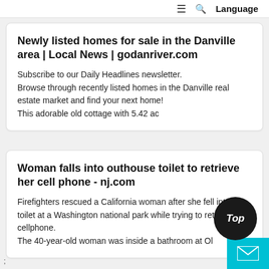≡  🔍  Language
Newly listed homes for sale in the Danville area | Local News | godanriver.com
Subscribe to our Daily Headlines newsletter.
Browse through recently listed homes in the Danville real estate market and find your next home!
This adorable old cottage with 5.42 ac
Woman falls into outhouse toilet to retrieve her cell phone - nj.com
Firefighters rescued a California woman after she fell into a toilet at a Washington national park while trying to retrieve her cellphone.
The 40-year-old woman was inside a bathroom at Ol